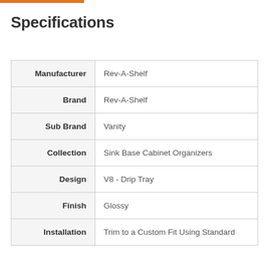Specifications
| Attribute | Value |
| --- | --- |
| Manufacturer | Rev-A-Shelf |
| Brand | Rev-A-Shelf |
| Sub Brand | Vanity |
| Collection | Sink Base Cabinet Organizers |
| Design | V8 - Drip Tray |
| Finish | Glossy |
| Installation | Trim to a Custom Fit Using Standard |